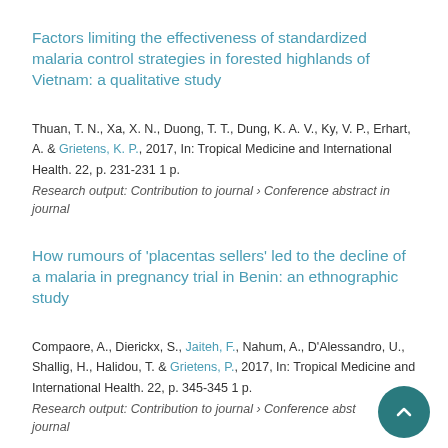Factors limiting the effectiveness of standardized malaria control strategies in forested highlands of Vietnam: a qualitative study
Thuan, T. N., Xa, X. N., Duong, T. T., Dung, K. A. V., Ky, V. P., Erhart, A. & Grietens, K. P., 2017, In: Tropical Medicine and International Health. 22, p. 231-231 1 p.
Research output: Contribution to journal › Conference abstract in journal
How rumours of 'placentas sellers' led to the decline of a malaria in pregnancy trial in Benin: an ethnographic study
Compaore, A., Dierickx, S., Jaiteh, F., Nahum, A., D'Alessandro, U., Shallig, H., Halidou, T. & Grietens, P., 2017, In: Tropical Medicine and International Health. 22, p. 345-345 1 p.
Research output: Contribution to journal › Conference abstract in journal